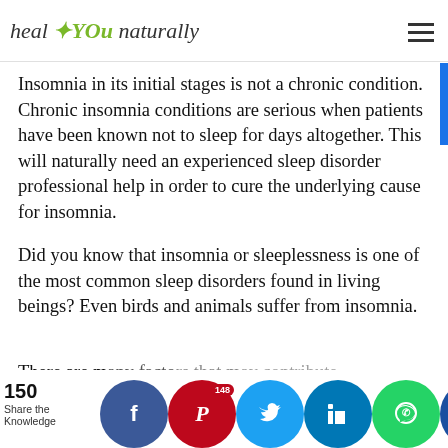heal YOU naturally
Insomnia in its initial stages is not a chronic condition. Chronic insomnia conditions are serious when patients have been known not to sleep for days altogether. This will naturally need an experienced sleep disorder professional help in order to cure the underlying cause for insomnia.
Did you know that insomnia or sleeplessness is one of the most common sleep disorders found in living beings? Even birds and animals suffer from insomnia.
There are many factors that may contribute
150 Share the Knowledge | Facebook | Pinterest 148 | Twitter | LinkedIn | WhatsApp | Crown